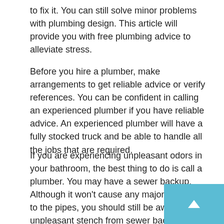to fix it. You can still solve minor problems with plumbing design. This article will provide you with free plumbing advice to alleviate stress.
Before you hire a plumber, make arrangements to get reliable advice or verify references. You can be confident in calling an experienced plumber if you have reliable advice. An experienced plumber will have a fully stocked truck and be able to handle all the jobs that are required.
If you are experiencing unpleasant odors in your bathroom, the best thing to do is call a plumber. You may have a sewer backup. Although it won't cause any major damage to the pipes, you should still be aware of the unpleasant stench from sewer backups.
Do not worry about plumbing problems in the ladies and gentlemen's bedrooms! Sometimes, the lavatory stops working due to an incident. Toys, hair, birth control pills, personal items, and personal hygiene items are all common things that can block lavatory functioning. These items should not be disposed of in a way that they can cause a problem.